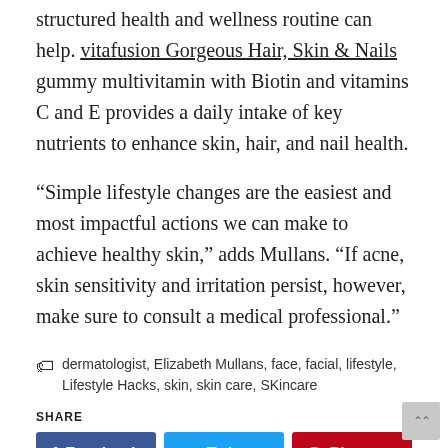structured health and wellness routine can help. vitafusion Gorgeous Hair, Skin & Nails gummy multivitamin with Biotin and vitamins C and E provides a daily intake of key nutrients to enhance skin, hair, and nail health.
“Simple lifestyle changes are the easiest and most impactful actions we can make to achieve healthy skin,” adds Mullans. “If acne, skin sensitivity and irritation persist, however, make sure to consult a medical professional.”
Tags: dermatologist, Elizabeth Mullans, face, facial, lifestyle, Lifestyle Hacks, skin, skin care, SKincare
SHARE
Facebook | Twitter | Pinterest | LinkedIn